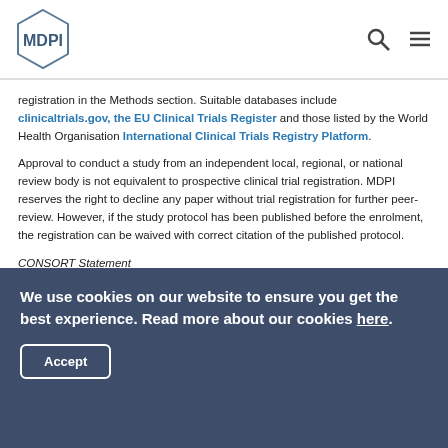MDPI
registration in the Methods section. Suitable databases include clinicaltrials.gov, the EU Clinical Trials Register and those listed by the World Health Organisation International Clinical Trials Registry Platform.
Approval to conduct a study from an independent local, regional, or national review body is not equivalent to prospective clinical trial registration. MDPI reserves the right to decline any paper without trial registration for further peer-review. However, if the study protocol has been published before the enrolment, the registration can be waived with correct citation of the published protocol.
CONSORT Statement
We use cookies on our website to ensure you get the best experience. Read more about our cookies here.